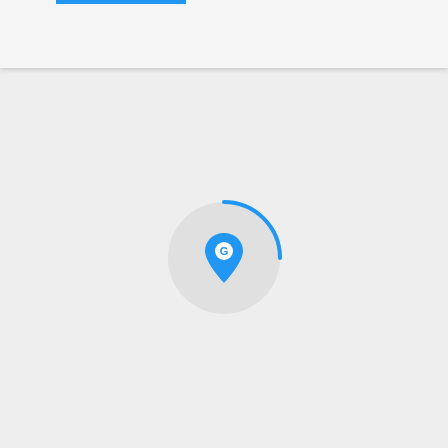[Figure (screenshot): Mobile app UI screenshot showing a dark hamburger menu on the left, a search icon, a green plus button and a blue user/account button in the top navigation bar. Below is a loading screen with a circular spinner and a blue map pin logo icon centered on a light gray background.]